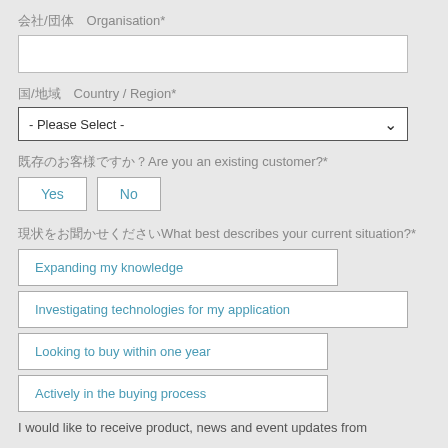会社/団体　Organisation*
国/地域　Country / Region*
既存のお客様ですか？Are you an existing customer?*
Yes
No
現状をお聞かせくださいWhat best describes your current situation?*
Expanding my knowledge
Investigating technologies for my application
Looking to buy within one year
Actively in the buying process
I would like to receive product, news and event updates from